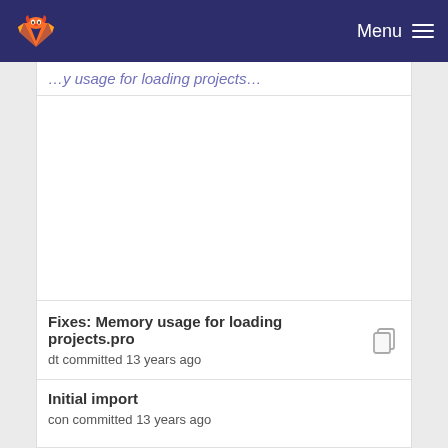GitLab Menu
Memory usage for loading projects.pro (partial, truncated at top)
Fixes: Memory usage for loading projects.pro
dt committed 13 years ago
Initial import
con committed 13 years ago
Fixes: Memory usage for loading projects.pro
dt committed 13 years ago